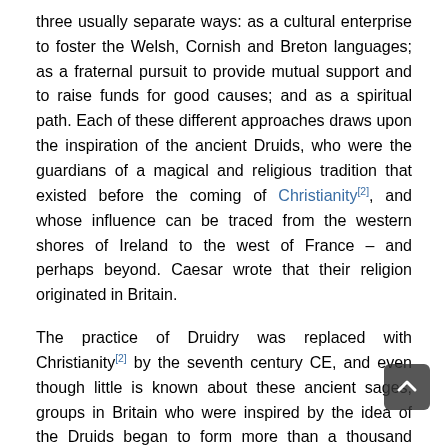three usually separate ways: as a cultural enterprise to foster the Welsh, Cornish and Breton languages; as a fraternal pursuit to provide mutual support and to raise funds for good causes; and as a spiritual path. Each of these different approaches draws upon the inspiration of the ancient Druids, who were the guardians of a magical and religious tradition that existed before the coming of Christianity[2], and whose influence can be traced from the western shores of Ireland to the west of France – and perhaps beyond. Caesar wrote that their religion originated in Britain.

The practice of Druidry was replaced with Christianity[2] by the seventh century CE, and even though little is known about these ancient sages, groups in Britain who were inspired by the idea of the Druids began to form more than a thousand years later in the early eighteenth century. Like seeds that have lain dormant for centuries before suddenly flowering again, Druidry began a process of revival –